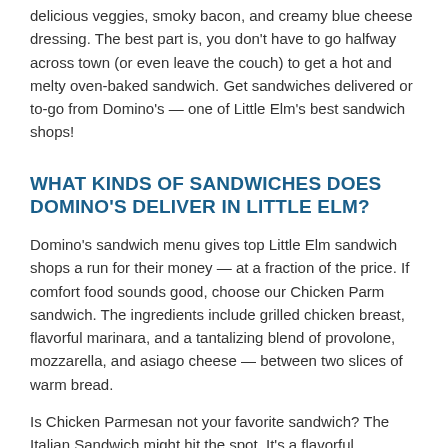delicious veggies, smoky bacon, and creamy blue cheese dressing. The best part is, you don't have to go halfway across town (or even leave the couch) to get a hot and melty oven-baked sandwich. Get sandwiches delivered or to-go from Domino's — one of Little Elm's best sandwich shops!
WHAT KINDS OF SANDWICHES DOES DOMINO'S DELIVER IN LITTLE ELM?
Domino's sandwich menu gives top Little Elm sandwich shops a run for their money — at a fraction of the price. If comfort food sounds good, choose our Chicken Parm sandwich. The ingredients include grilled chicken breast, flavorful marinara, and a tantalizing blend of provolone, mozzarella, and asiago cheese — between two slices of warm bread.
Is Chicken Parmesan not your favorite sandwich? The Italian Sandwich might hit the spot. It's a flavorful combination of your favorite ingredients like pepperoni, salami, banana peppers, and melted provolone on oven-toasted bread. It's full of flavor, packed with cheese, and the perfect pinch of spicy.